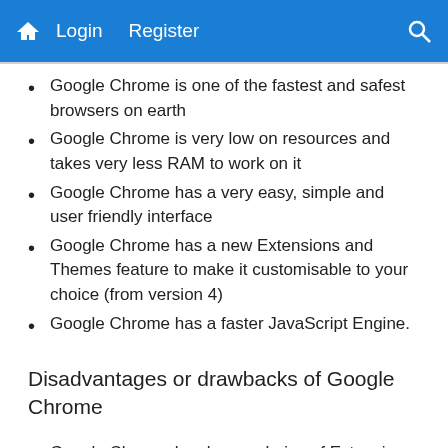Home  Login  Register  Search
Google Chrome is one of the fastest and safest browsers on earth
Google Chrome is very low on resources and takes very less RAM to work on it
Google Chrome has a very easy, simple and user friendly interface
Google Chrome has a new Extensions and Themes feature to make it customisable to your choice (from version 4)
Google Chrome has a faster JavaScript Engine.
Disadvantages or drawbacks of Google Chrome
Google Chrome has lesser choice of Extensions and Themes unlike Mozilla Firefox
Google Chrome has...